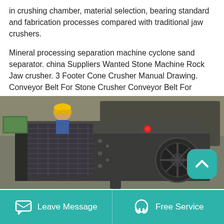in crushing chamber, material selection, bearing standard and fabrication processes compared with traditional jaw crushers.
Mineral processing separation machine cyclone sand separator. china Suppliers Wanted Stone Machine Rock Jaw crusher. 3 Footer Cone Crusher Manual Drawing. Conveyor Belt For Stone Crusher Conveyor Belt For Stone. Used Haas Mini Mill For Sale. impactor crusher spares tender india.
[Figure (photo): Photo of a large industrial vibrating screen or crusher machine in a workshop/factory setting. The machine is dark grey/black with bolts, pipes, and mechanical components visible. Workers in hard hats visible in the background.]
Leave Message   Free Service